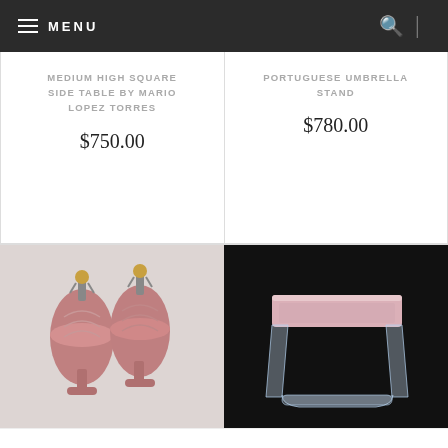MENU
MEDIUM HIGH SQUARE SIDE TABLE BY MARIO LOPEZ TORRES
$750.00
PORTUGUESE UMBRELLA STAND
$780.00
[Figure (photo): Two pink ceramic table lamps with gold fittings on a light background]
[Figure (photo): Acrylic/lucite waterfall stool with pink upholstered top on black background]
This website uses cookies to improve your experience, provide social media features, and to analyze traffic.
ACCEPT
Read More